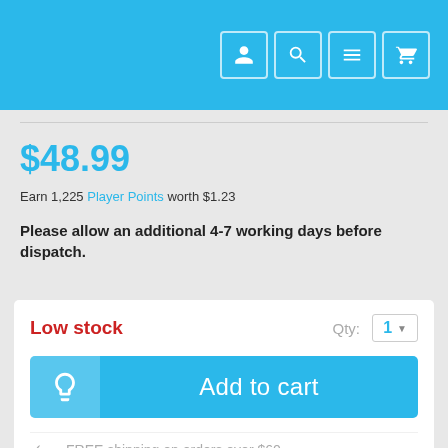[Navigation icons: user, search, menu, cart]
$48.99
Earn 1,225 Player Points worth $1.23
Please allow an additional 4-7 working days before dispatch.
Low stock
Qty: 1
Add to cart
FREE shipping on orders over $60
Player Points Customer Rewards
Safe, secure checkout